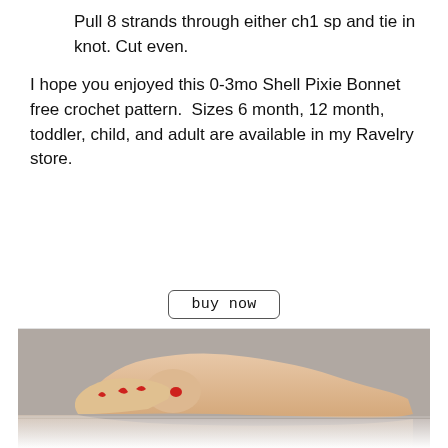Pull 8 strands through either ch1 sp and tie in knot. Cut even.
I hope you enjoyed this 0-3mo Shell Pixie Bonnet free crochet pattern.  Sizes 6 month, 12 month, toddler, child, and adult are available in my Ravelry store.
buy now
[Figure (photo): A foot resting on a grey surface, with red markings on the ankle and toes, partially reflected below, the lower portion of the image fades to white.]